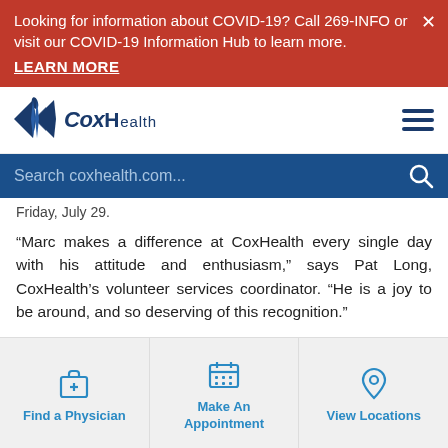Looking for information about COVID-19? Call 269-INFO or visit our COVID-19 Information Hub to learn more. LEARN MORE
[Figure (logo): CoxHealth logo with blue star/diamond shape and text CoxHealth]
Search coxhealth.com...
Friday, July 29.
“Marc makes a difference at CoxHealth every single day with his attitude and enthusiasm,” says Pat Long, CoxHealth’s volunteer services coordinator. “He is a joy to be around, and so deserving of this recognition.”
Marc began volunteering at CoxHealth in
Find a Physician
Make An Appointment
View Locations